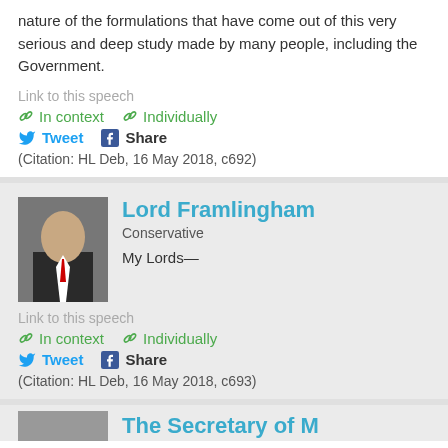nature of the formulations that have come out of this very serious and deep study made by many people, including the Government.
Link to this speech
In context   Individually
Tweet   Share
(Citation: HL Deb, 16 May 2018, c692)
Lord Framlingham
Conservative
My Lords—
Link to this speech
In context   Individually
Tweet   Share
(Citation: HL Deb, 16 May 2018, c693)
The Secretary of M...